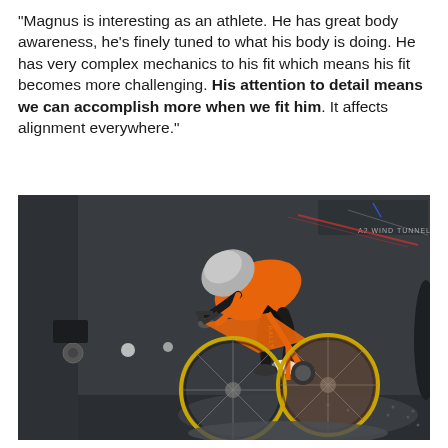“Magnus is interesting as an athlete. He has great body awareness, he’s finely tuned to what his body is doing. He has very complex mechanics to his fit which means his fit becomes more challenging. His attention to detail means we can accomplish more when we fit him. It affects alignment everywhere.”
[Figure (photo): A cyclist in an orange jersey and aerodynamic helmet riding a time trial bicycle in a wind tunnel (A2 Wind Tunnel). The rider is in an aggressive aerodynamic position on an orange carbon frame bike. The wind tunnel interior is dark grey with circular sensors on the walls.]